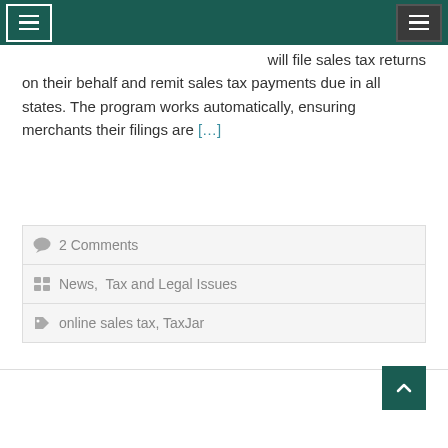Navigation header with menu icons
will file sales tax returns on their behalf and remit sales tax payments due in all states. The program works automatically, ensuring merchants their filings are [...]
2 Comments
News, Tax and Legal Issues
online sales tax, TaxJar